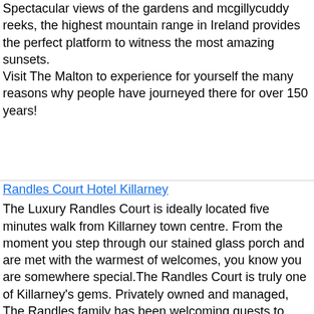Spectacular views of the gardens and mcgillycuddy reeks, the highest mountain range in Ireland provides the perfect platform to witness the most amazing sunsets. Visit The Malton to experience for yourself the many reasons why people have journeyed there for over 150 years!
Randles Court Hotel Killarney
The Luxury Randles Court is ideally located five minutes walk from Killarney town centre. From the moment you step through our stained glass porch and are met with the warmest of welcomes, you know you are somewhere special.The Randles Court is truly one of Killarney's gems. Privately owned and managed, The Randles family has been welcoming guests to Kerry for more than three generations.